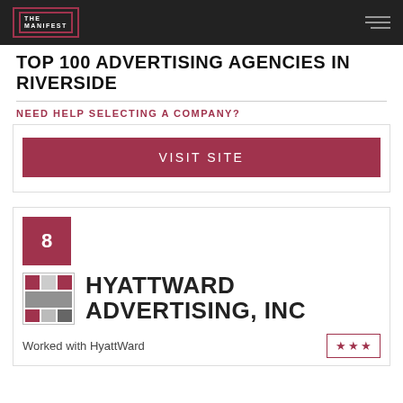THE MANIFEST
TOP 100 ADVERTISING AGENCIES IN RIVERSIDE
NEED HELP SELECTING A COMPANY?
VISIT SITE
8
HYATTWARD ADVERTISING, INC
Worked with HyattWard